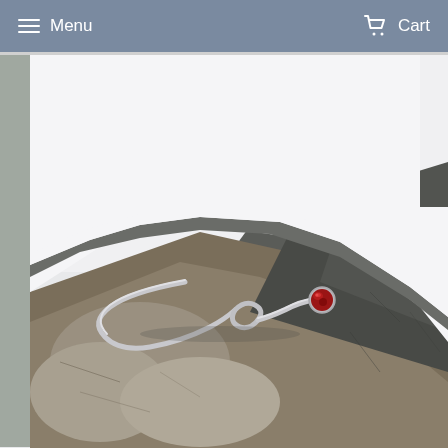Menu   Cart
[Figure (photo): A silver ring with a small round red gemstone (garnet), featuring an elegant wave/infinity-style band, resting on a rough dark stone surface against a white background.]